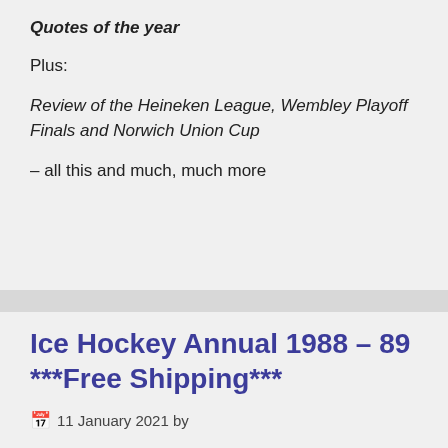Quotes of the year
Plus:
Review of the Heineken League, Wembley Playoff Finals and Norwich Union Cup
– all this and much, much more
Ice Hockey Annual 1988 – 89 ***Free Shipping***
11 January 2021 by